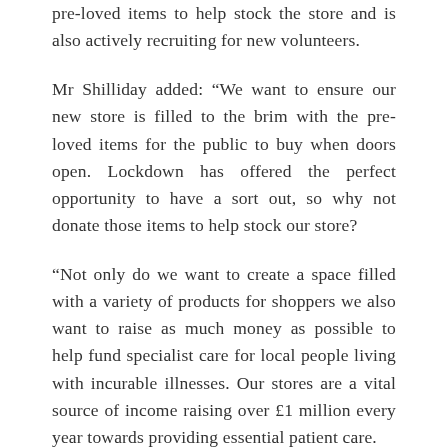pre-loved items to help stock the store and is also actively recruiting for new volunteers.
Mr Shilliday added: “We want to ensure our new store is filled to the brim with the pre-loved items for the public to buy when doors open. Lockdown has offered the perfect opportunity to have a sort out, so why not donate those items to help stock our store?
“Not only do we want to create a space filled with a variety of products for shoppers we also want to raise as much money as possible to help fund specialist care for local people living with incurable illnesses. Our stores are a vital source of income raising over £1 million every year towards providing essential patient care.
“We’re also recruiting for a number of volunteers to join us and help in store. Volunteering is a brilliant way to meet